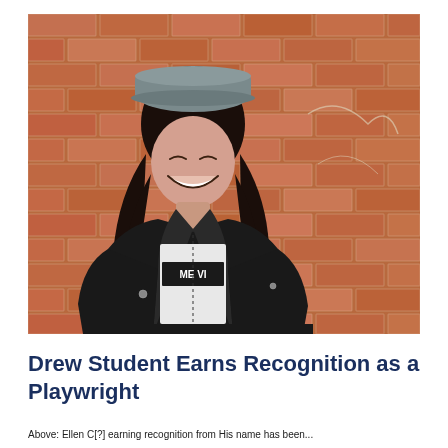[Figure (photo): A young woman wearing a grey baseball cap and black leather jacket over a white graphic t-shirt, smiling with eyes closed, leaning against a red brick wall. The photo is taken outdoors in daylight.]
Drew Student Earns Recognition as a Playwright
Above: Ellen C[?] earning recognition from His name has been...